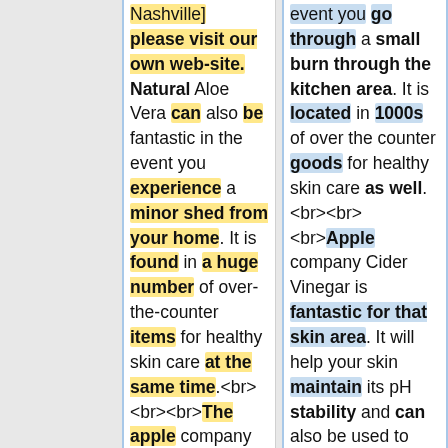Nashville] please visit our own web-site. Natural Aloe Vera can also be fantastic in the event you experience a minor shed from your home. It is found in a huge number of over-the-counter items for healthy skin care at the same time.<br><br><br>The apple company Cider Vinegar is great to the epidermis. It will also help your skin
event you go through a small burn through the kitchen area. It is located in 1000s of over the counter goods for healthy skin care as well. <br><br><br>Apple company Cider Vinegar is fantastic for that skin area. It will help your skin maintain its pH stability and can also be used to hold harmful bacteria away. You are able to